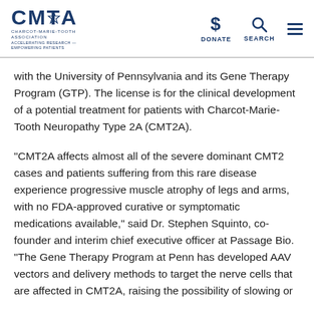CMTA - Charcot-Marie-Tooth Association | DONATE | SEARCH
with the University of Pennsylvania and its Gene Therapy Program (GTP). The license is for the clinical development of a potential treatment for patients with Charcot-Marie-Tooth Neuropathy Type 2A (CMT2A).
“CMT2A affects almost all of the severe dominant CMT2 cases and patients suffering from this rare disease experience progressive muscle atrophy of legs and arms, with no FDA-approved curative or symptomatic medications available,” said Dr. Stephen Squinto, co-founder and interim chief executive officer at Passage Bio. “The Gene Therapy Program at Penn has developed AAV vectors and delivery methods to target the nerve cells that are affected in CMT2A, raising the possibility of slowing or